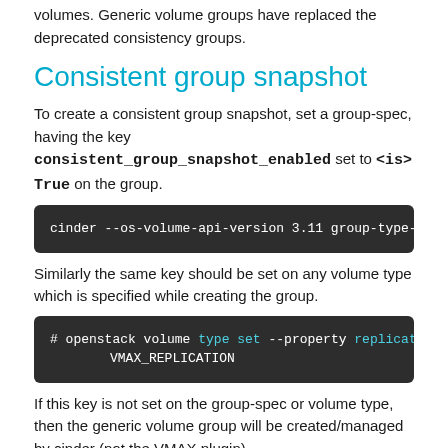volumes. Generic volume groups have replaced the deprecated consistency groups.
Consistent group snapshot
To create a consistent group snapshot, set a group-spec, having the key consistent_group_snapshot_enabled set to <is> True on the group.
[Figure (screenshot): Code block showing: cinder --os-volume-api-version 3.11 group-type-key]
Similarly the same key should be set on any volume type which is specified while creating the group.
[Figure (screenshot): Code block showing: # openstack volume type set --property replication VMAX_REPLICATION]
If this key is not set on the group-spec or volume type, then the generic volume group will be created/managed by cinder (not the VMAX plugin).